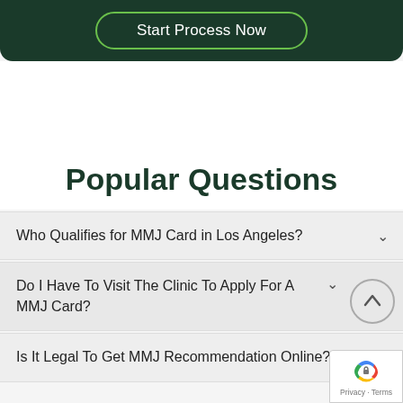[Figure (screenshot): Dark green banner with 'Start Process Now' button outlined in green]
Popular Questions
Who Qualifies for MMJ Card in Los Angeles?
Do I Have To Visit The Clinic To Apply For A MMJ Card?
Is It Legal To Get MMJ Recommendation Online?